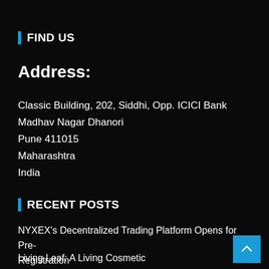FIND US
Address:
Classic Building, 202, Siddhi, Opp. ICICI Bank
Madhav Nagar Dhanori
Pune 411015
Maharashtra
India
RECENT POSTS
NYXEX's Decentralized Trading Platform Opens for Pre-Registration
Living Leaf: A Living Cosmetic
The best performing from AI in blockchain games, a new